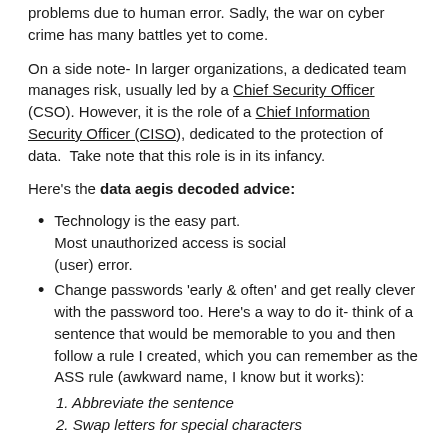problems due to human error. Sadly, the war on cyber crime has many battles yet to come.
On a side note- In larger organizations, a dedicated team manages risk, usually led by a Chief Security Officer (CSO). However, it is the role of a Chief Information Security Officer (CISO), dedicated to the protection of data. Take note that this role is in its infancy.
Here's the data aegis decoded advice:
Technology is the easy part. Most unauthorized access is social (user) error.
Change passwords 'early & often' and get really clever with the password too. Here's a way to do it- think of a sentence that would be memorable to you and then follow a rule I created, which you can remember as the ASS rule (awkward name, I know but it works):
1. Abbreviate the sentence
2. Swap letters for special characters